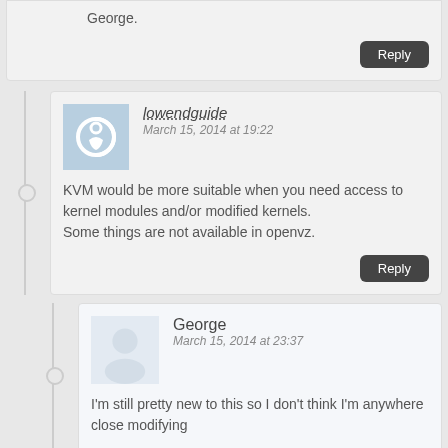George.
Reply
lowendguide
March 15, 2014 at 19:22
KVM would be more suitable when you need access to kernel modules and/or modified kernels.
Some things are not available in openvz.
Reply
George
March 15, 2014 at 23:37
I'm still pretty new to this so I don't think I'm anywhere close modifying